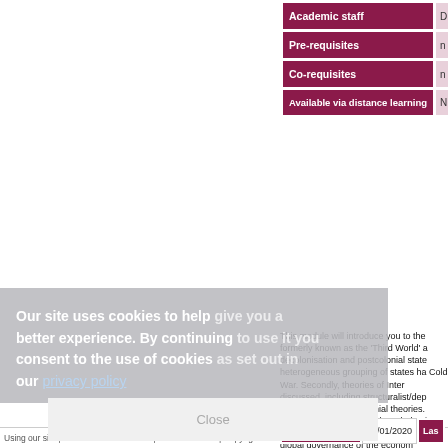| Field | Value |
| --- | --- |
| Academic staff | D |
| Pre-requisites | n |
| Co-requisites | n |
| Available via distance learning | N |
This module will introduce you to the formerly known as the 'Third World' a decolonisation and postcolonial state heterogeneous grouping of states ha Cold War. Secondly, theories of Inter discussed, including structuralist/dep postcolonial and decolonial theories. problems of sociology of knowledge i or varying features of foreign policy, s the global governance of the econom
| Module created | 29/01/2020 | Las |
| --- | --- | --- |
Our site uses cookies to help give you a better experience. By continuing to use it you consent to the use of cookies as set out in our privacy policy
Close
Using our site | Freedom of Information | Data Protection | Copyright & disclaimer | Privacy & Cookies |